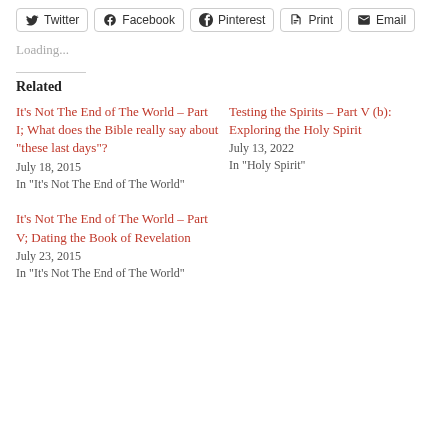Twitter | Facebook | Pinterest | Print | Email
Loading...
Related
It’s Not The End of The World – Part I; What does the Bible really say about “these last days”?
July 18, 2015
In "It's Not The End of The World"
Testing the Spirits – Part V (b): Exploring the Holy Spirit
July 13, 2022
In "Holy Spirit"
It’s Not The End of The World – Part V; Dating the Book of Revelation
July 23, 2015
In "It's Not The End of The World"